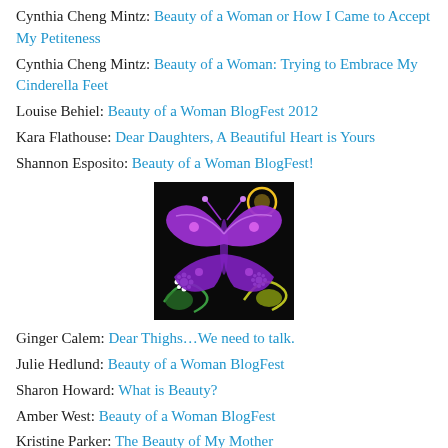Cynthia Cheng Mintz: Beauty of a Woman or How I Came to Accept My Petiteness
Cynthia Cheng Mintz: Beauty of a Woman: Trying to Embrace My Cinderella Feet
Louise Behiel: Beauty of a Woman BlogFest 2012
Kara Flathouse: Dear Daughters, A Beautiful Heart is Yours
Shannon Esposito: Beauty of a Woman BlogFest!
[Figure (illustration): A decorative image of a colorful butterfly on a black background with flowers, rendered in neon colors (purple butterfly, white flowers, yellow and green accents).]
Ginger Calem: Dear Thighs…We need to talk.
Julie Hedlund: Beauty of a Woman BlogFest
Sharon Howard: What is Beauty?
Amber West: Beauty of a Woman BlogFest
Kristine Parker: The Beauty of My Mother